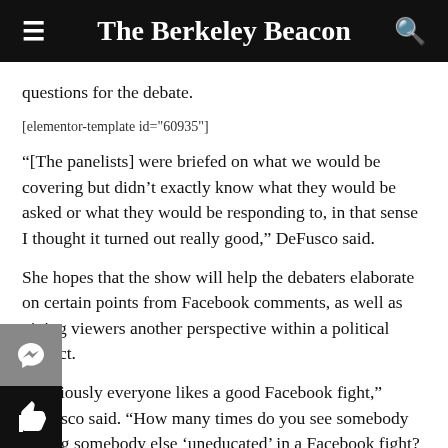The Berkeley Beacon
questions for the debate.
[elementor-template id="60935"]
“[The panelists] were briefed on what we would be covering but didn’t exactly know what they would be asked or what they would be responding to, in that sense I thought it turned out really good,” DeFusco said.
She hopes that the show will help the debaters elaborate on certain points from Facebook comments, as well as giving viewers another perspective within a political subject.
“Obviously everyone likes a good Facebook fight,” DeFusco said. “How many times do you see somebody calling somebody else ‘uneducated’ in a Facebook fight? And in contrast, how often do you see that in a face to face conversation? I thought that was a huge problem and that